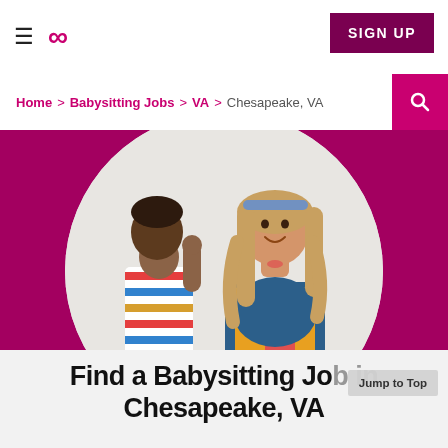≡  ∞  SIGN UP
Home > Babysitting Jobs > VA > Chesapeake, VA
[Figure (photo): Photo of a babysitter with long wavy hair wearing overalls, smiling at a toddler in a striped shirt, set within a circular frame on a magenta/dark pink background.]
Find a Babysitting Job in Chesapeake, VA
Jump to Top